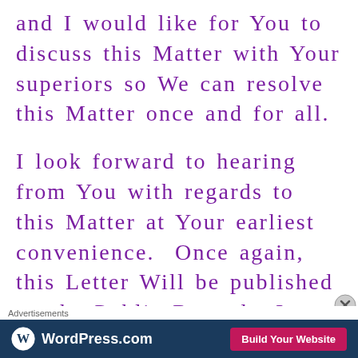and I would like for You to discuss this Matter with Your superiors so We can resolve this Matter once and for all.
I look forward to hearing from You with regards to this Matter at Your earliest convenience.  Once again, this Letter Will be published on the Public Record.  I know You...
Advertisements
[Figure (other): WordPress.com advertisement banner with logo on left and 'Build Your Website' button on right, dark blue background]